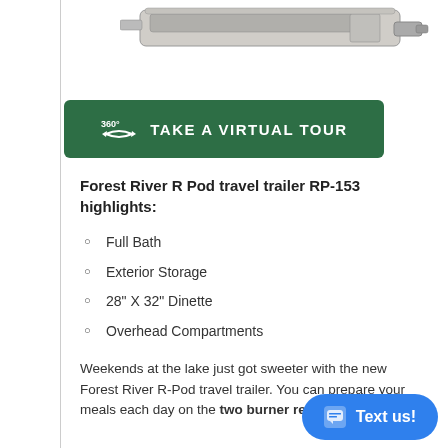[Figure (photo): Partial view of a Forest River R Pod travel trailer RP-153, showing the top portion of the trailer exterior from above/side angle, cropped at the top of the page.]
[Figure (other): Dark green rounded rectangle button with a 360-degree icon and text: TAKE A VIRTUAL TOUR]
Forest River R Pod travel trailer RP-153 highlights:
Full Bath
Exterior Storage
28" X 32" Dinette
Overhead Compartments
Weekends at the lake just got sweeter with the new Forest River R-Pod travel trailer. You can prepare your meals each day on the two burner recessed cooktop, or
[Figure (other): Blue rounded pill-shaped chat button with a chat bubble icon and text: Text us!]